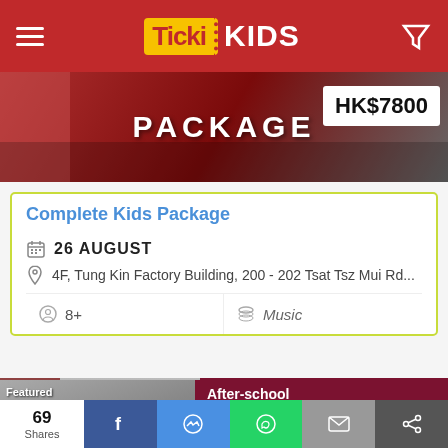TickiKIDS
[Figure (photo): Event banner image for Complete Kids Package with a price badge showing HK$7800]
Complete Kids Package
26 AUGUST
4F, Tung Kin Factory Building, 200 - 202 Tsat Tsz Mui Rd...
8+
Music
[Figure (photo): Featured ESF After-school Programmes Open to all advertisement. Left side shows photo of child working on paper with adult. Right side dark red with text: After-school Programmes Open to all. Are you in the back-to-school spirit? What do you hope for]
69 Shares